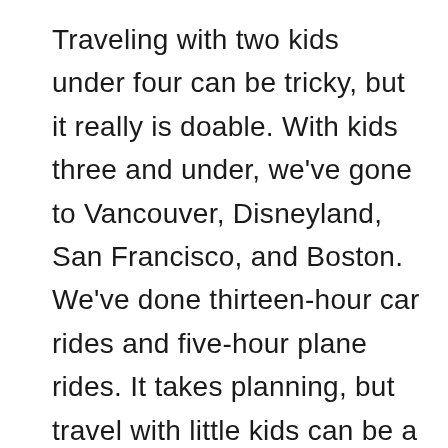Traveling with two kids under four can be tricky, but it really is doable. With kids three and under, we've gone to Vancouver, Disneyland, San Francisco, and Boston. We've done thirteen-hour car rides and five-hour plane rides. It takes planning, but travel with little kids can be a lot of fun.